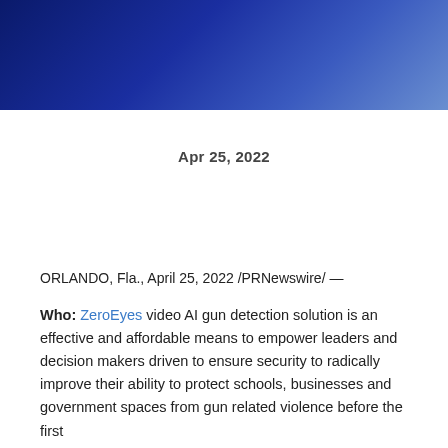[Figure (other): Dark blue gradient header banner across the top of the page]
Apr 25, 2022
ORLANDO, Fla., April 25, 2022 /PRNewswire/ —
Who: ZeroEyes video AI gun detection solution is an effective and affordable means to empower leaders and decision makers driven to ensure security to radically improve their ability to protect schools, businesses and government spaces from gun related violence before the first